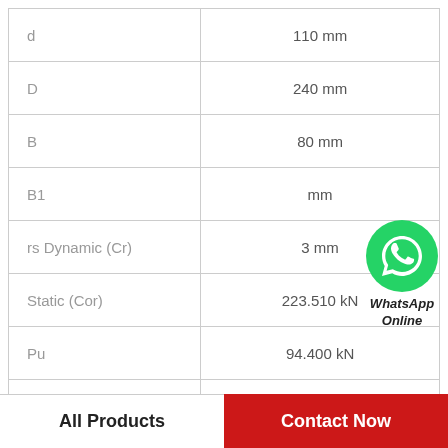| Parameter | Value |
| --- | --- |
| d | 110 mm |
| D | 240 mm |
| B | 80 mm |
| B1 | mm |
| rs Dynamic (Cr) | 3 mm |
| Static (Cor) | 223.510 kN |
| Pu | 94.400 kN |
| Grease | 3.240 kN |
[Figure (logo): WhatsApp Online button with green circle phone icon and bold italic label]
All Products
Contact Now